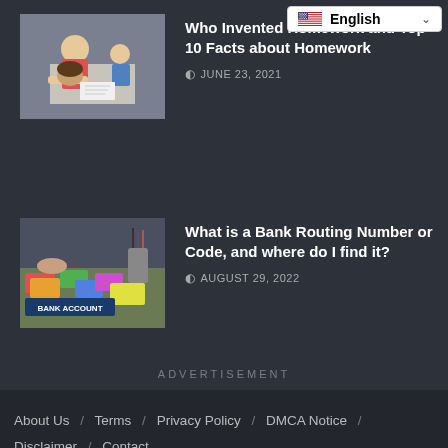[Figure (screenshot): English language selector dropdown with US flag]
[Figure (photo): Students doing homework, stressed child with head in hands]
Who Invented Homework and Top 10 Facts about Homework
JUNE 23, 2021
[Figure (photo): Bank account related image with colorful cards]
What is a Bank Routing Number or Code, and where do I find it?
AUGUST 29, 2022
ADVERTISEMENT
About Us / Terms / Privacy Policy / DMCA Notice / Disclaimer / Contact
© 2022 - www.moneyvests.com - All rights Reserved.